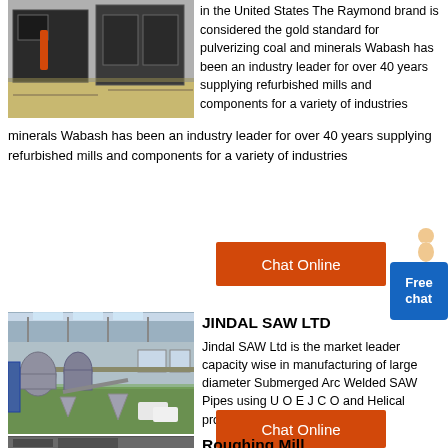[Figure (photo): Industrial machine/mill equipment on warehouse floor, dark grey machinery]
in the United States The Raymond brand is considered the gold standard for pulverizing coal and minerals Wabash has been an industry leader for over 40 years supplying refurbished mills and components for a variety of industries
[Figure (photo): Large industrial factory floor with processing/milling equipment, high ceiling with skylights, green floor]
JINDAL SAW LTD
Jindal SAW Ltd is the market leader capacity wise in manufacturing of large diameter Submerged Arc Welded SAW Pipes using U O E J C O and Helical processes The SAW Pipes are
[Figure (photo): Partial view of roughing mill equipment]
Roughing Mill